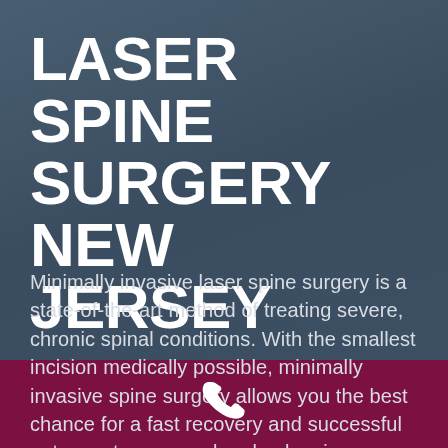LASER SPINE SURGERY NEW JERSEY
Minimally invasive laser spine surgery is a state-of-the-art method of treating severe, chronic spinal conditions. With the smallest incision medically possible, minimally invasive spine surgery allows you the best chance for a fast recovery and successful outcome to your neck or back pain.
[Figure (illustration): White phone/call icon centered in dark maroon footer bar]